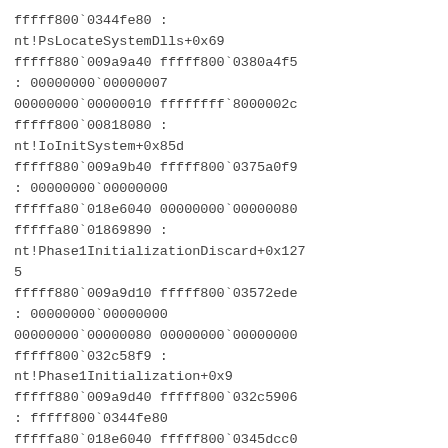fffff800`0344fe80 :
nt!PsLocateSystemDlls+0x69
fffff880`009a9a40 fffff800`0380a4f5
: 00000000`00000007
00000000`00000010 ffffffff`8000002c
fffff800`00818080 :
nt!IoInitSystem+0x85d
fffff880`009a9b40 fffff800`0375a0f9
: 00000000`00000000
fffffa80`018e6040 00000000`00000080
fffffa80`01869890 :
nt!Phase1InitializationDiscard+0x1275
fffff880`009a9d10 fffff800`03572ede
: 00000000`00000000
00000000`00000080 00000000`00000000
fffff800`032c58f9 :
nt!Phase1Initialization+0x9
fffff880`009a9d40 fffff800`032c5906
: fffff800`0344fe80
fffffa80`018e6040 fffff800`0345dcc0